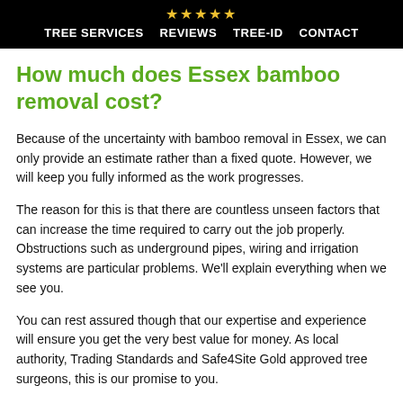★★★★★  TREE SERVICES  REVIEWS  TREE-ID  CONTACT
How much does Essex bamboo removal cost?
Because of the uncertainty with bamboo removal in Essex, we can only provide an estimate rather than a fixed quote. However, we will keep you fully informed as the work progresses.
The reason for this is that there are countless unseen factors that can increase the time required to carry out the job properly. Obstructions such as underground pipes, wiring and irrigation systems are particular problems. We'll explain everything when we see you.
You can rest assured though that our expertise and experience will ensure you get the very best value for money. As local authority, Trading Standards and Safe4Site Gold approved tree surgeons, this is our promise to you.
For Cost Effective Essex Bamboo Removal